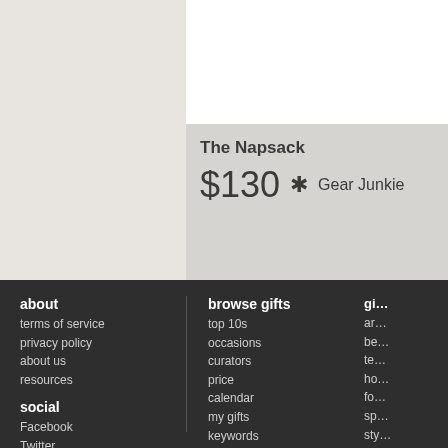The Napsack
$130  ★  Gear Junkie
about
terms of service
privacy policy
about us
resources
social
Facebook
Twitter
Google+
browse gifts
top 10s
occasions
curators
price
calendar
my gifts
keywords
gi…
ar…
be…
te…
ho…
fo…
sp…
sty…
tra…
ar…
ty…
ar…
ar…
be…
sta…
be…
the…